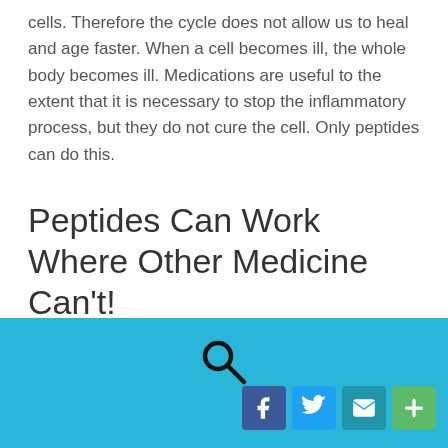cells. Therefore the cycle does not allow us to heal and age faster. When a cell becomes ill, the whole body becomes ill. Medications are useful to the extent that it is necessary to stop the inflammatory process, but they do not cure the cell. Only peptides can do this.
Peptides Can Work Where Other Medicine Can't!
Due to their low molecular weight, the peptides easily penetrate the cell wall into the damaged tissue and into the cells where they provide the necessary information to initiate cellular regeneration and unlock the stem cell